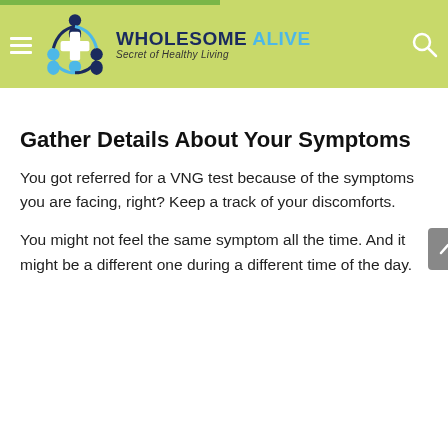WHOLESOME ALIVE – Secret of Healthy Living
Gather Details About Your Symptoms
You got referred for a VNG test because of the symptoms you are facing, right? Keep a track of your discomforts.
You might not feel the same symptom all the time. And it might be a different one during a different time of the day.